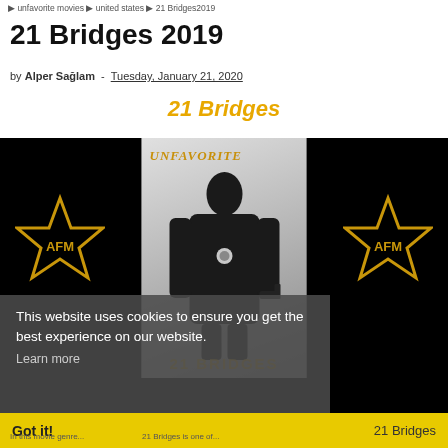unfavorite movies > united states > 21 Bridges2019
21 Bridges 2019
by Alper Sağlam - Tuesday, January 21, 2020
21 Bridges
[Figure (photo): Movie promotional image for 21 Bridges showing a man in a long dark coat holding a gun, with UNFAVORITE text overlay and AFM star logos on black background. A cookie consent banner overlays the bottom portion.]
21 Bridges
This website uses cookies to ensure you get the best experience on our website. Learn more
Got it!